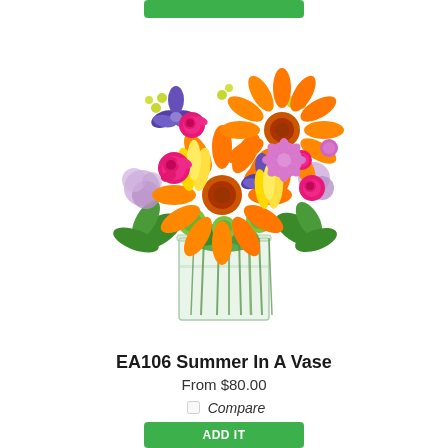[Figure (photo): A colorful summer flower bouquet in a clear square glass vase. The arrangement includes orange gerbera daisies, hot pink roses and spray roses, yellow tulips, purple iris, lavender carnations, purple statice, yellow-green solidago, and green button mums with decorative green foliage. The stems are visible through the transparent glass vase.]
EA106 Summer In A Vase
From $80.00
Compare
ADD IT